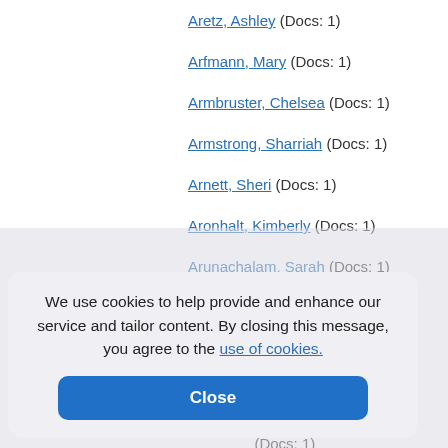Aretz, Ashley (Docs: 1)
Arfmann, Mary (Docs: 1)
Armbruster, Chelsea (Docs: 1)
Armstrong, Sharriah (Docs: 1)
Arnett, Sheri (Docs: 1)
Aronhalt, Kimberly (Docs: 1)
Arunachalam, Sarah (Docs: 1)
(Docs: 1)
(Docs: 1)
(Docs: 1)
(Docs: 1)
(Docs: 1)
We use cookies to help provide and enhance our service and tailor content. By closing this message, you agree to the use of cookies.